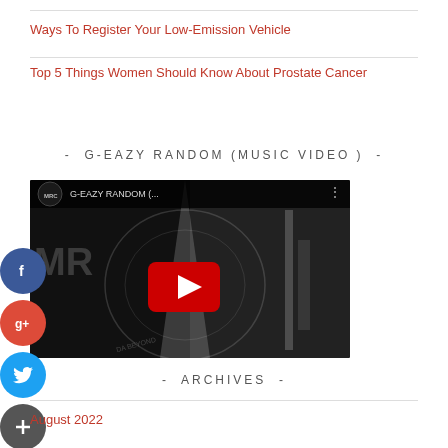Ways To Register Your Low-Emission Vehicle
Top 5 Things Women Should Know About Prostate Cancer
- G-EAZY RANDOM (MUSIC VIDEO ) -
[Figure (screenshot): YouTube video thumbnail for G-EAZY RANDOM music video with play button]
- ARCHIVES -
August 2022